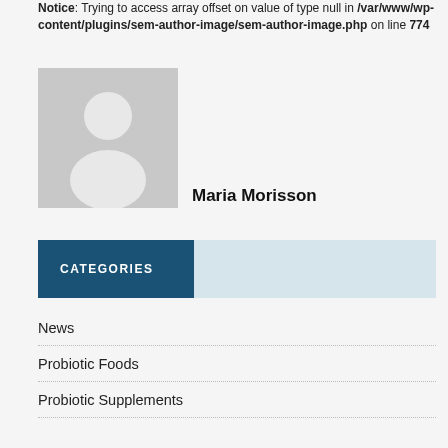Notice: Trying to access array offset on value of type null in /var/www/wp-content/plugins/sem-author-image/sem-author-image.php on line 774
[Figure (illustration): Default grey avatar placeholder image showing a silhouette of a person (head and shoulders)]
Maria Morisson
CATEGORIES
News
Probiotic Foods
Probiotic Supplements